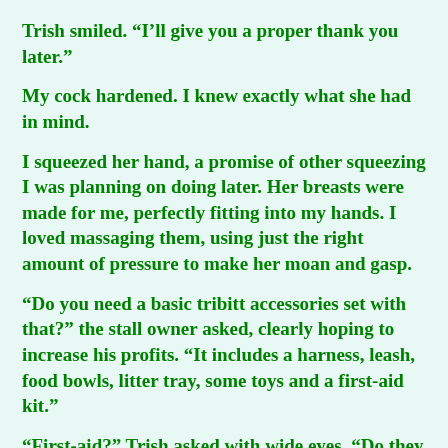Trish smiled. “I’ll give you a proper thank you later.”
My cock hardened. I knew exactly what she had in mind.
I squeezed her hand, a promise of other squeezing I was planning on doing later. Her breasts were made for me, perfectly fitting into my hands. I loved massaging them, using just the right amount of pressure to make her moan and gasp.
“Do you need a basic tribitt accessories set with that?” the stall owner asked, clearly hoping to increase his profits. “It includes a harness, leash, food bowls, litter tray, some toys and a first-aid kit.”
“First-aid?” Trish asked with wide eyes. “Do they get